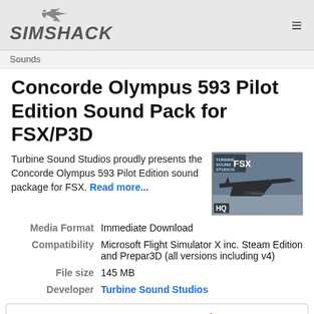SIMSHACK
Sounds
Concorde Olympus 593 Pilot Edition Sound Pack for FSX/P3D
Turbine Sound Studios proudly presents the Concorde Olympus 593 Pilot Edition sound package for FSX. Read more...
[Figure (photo): Product image showing a Concorde aircraft with Turbine Sound Studios FSX branding and HQ badge]
| Label | Value |
| --- | --- |
| Media Format | Immediate Download |
| Compatibility | Microsoft Flight Simulator X inc. Steam Edition and Prepar3D (all versions including v4) |
| File size | 145 MB |
| Developer | Turbine Sound Studios |
BUY NOW FOR ALL TAXES INCLUDED $12.38